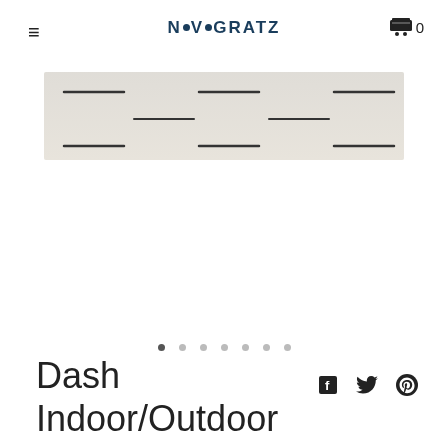NOVOGRATZ
[Figure (photo): A light beige/cream rug with horizontal dark dash stripe pattern, shown as a wide rectangular product shot.]
Dash Indoor/Outdoor